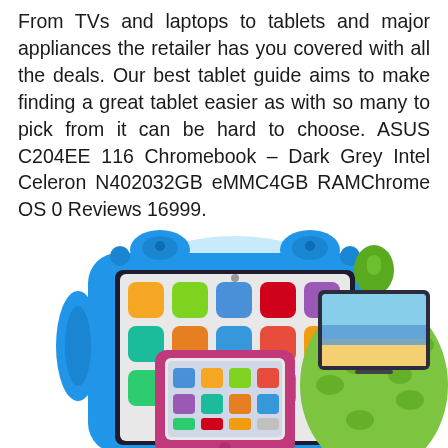From TVs and laptops to tablets and major appliances the retailer has you covered with all the deals. Our best tablet guide aims to make finding a great tablet easier as with so many to pick from it can be hard to choose. ASUS C204EE 116 Chromebook – Dark Grey Intel Celeron N402032GB eMMC4GB RAMChrome OS 0 Reviews 16999.
[Figure (photo): Three tablets/devices shown: a blue kids protective case holding an iPad with colorful app icons, a pink/magenta tablet stand holding a smaller tablet, and a green bean bag style tablet holder with turtle pattern holding a tablet showing a beach scene.]